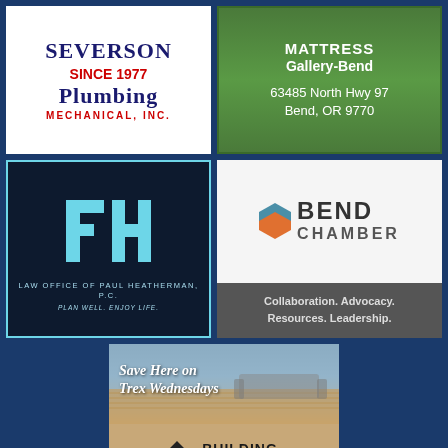[Figure (logo): Severson Plumbing Since 1977 Mechanical, Inc. logo — white background, dark navy serif text, red accent]
[Figure (logo): Wilson's Mattress Gallery-Bend logo — green background with white text, address: 63485 North Hwy 97, Bend, OR 9770]
[Figure (logo): Law Office of Paul Heatherman, P.C. — dark navy background with cyan geometric FH logo mark, tagline: Plan Well. Enjoy Life.]
[Figure (logo): Bend Chamber logo — light background top with BEND CHAMBER text and hexagon icon, dark gray bottom with Collaboration. Advocacy. Resources. Leadership.]
[Figure (photo): Building Solutions Bend Oregon — Save Here on Trex Wednesdays, outdoor deck photo background, tan/brown lower section with house logo]